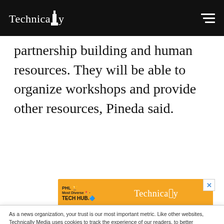Technically
partnership building and human resources. They will be able to organize workshops and provide other resources, Pineda said.
[Figure (other): Advertisement banner showing 'PHL Most Diverse TECH HUB' on orange background with Technically logo]
As a news organization, your trust is our most important metric. Like other websites, Technically Media uses cookies to track the experience of our readers, to better understand usage patterns and content preferences. We will not sell or rent your personal information to third parties. For more information or to contact us, read our entire Ethics & Privacy Policy.
Close